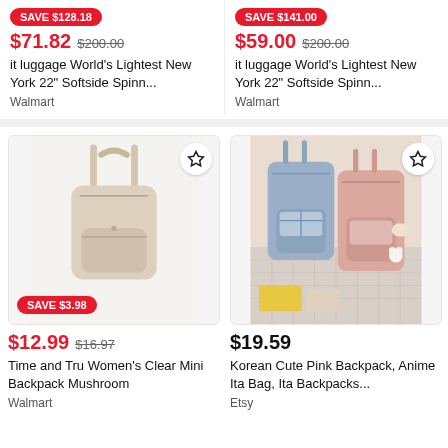SAVE $128.18
$71.82  $200.00  it luggage World's Lightest New York 22" Softside Spinn...  Walmart
SAVE $141.00
$59.00  $200.00  it luggage World's Lightest New York 22" Softside Spinn...  Walmart
[Figure (photo): Beige/cream mini backpack on white background with star bookmark icon]
[Figure (photo): Blue and pink Korean cute backpacks with anime charms and accessories on checkered surface]
SAVE $3.98
$12.99  $16.97  Time and Tru Women's Clear Mini Backpack Mushroom  Walmart
$19.59  Korean Cute Pink Backpack, Anime Ita Bag, Ita Backpacks...  Etsy